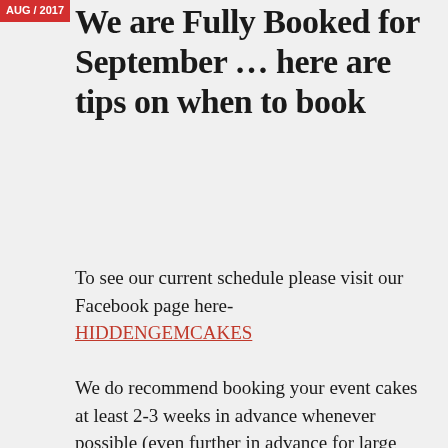AUG / 2017
We are Fully Booked for September … here are tips on when to book
To see our current schedule please visit our Facebook page here- HIDDENGEMCAKES
We do recommend booking your event cakes at least 2-3 weeks in advance whenever possible (even further in advance for large orders or celebrations such as weddings) as we do take a limited number of custom cake orders each weekend to insure the highest quality custom cakes and personalized customer service. Every client receives